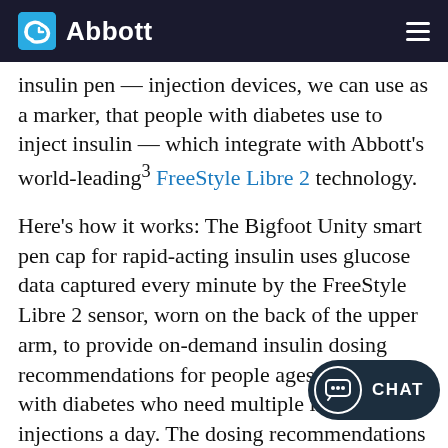Abbott
insulin pen — injection devices, we can use as a marker, that people with diabetes use to inject insulin — which integrate with Abbott's world-leading³ FreeStyle Libre 2 technology.
Here's how it works: The Bigfoot Unity smart pen cap for rapid-acting insulin uses glucose data captured every minute by the FreeStyle Libre 2 sensor, worn on the back of the upper arm, to provide on-demand insulin dosing recommendations for people ages 12 and older with diabetes who need multiple insulin injections a day. The dosing recommendations appear on the pen cap screen and are based on instructions from the user's